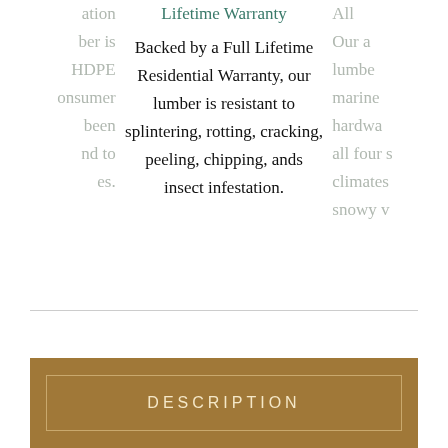Lifetime Warranty
Backed by a Full Lifetime Residential Warranty, our lumber is resistant to splintering, rotting, cracking, peeling, chipping, ands insect infestation.
DESCRIPTION